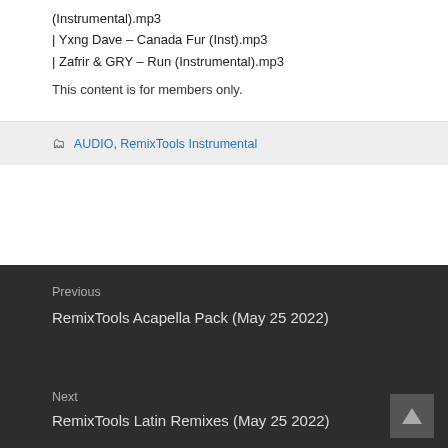(Instrumental).mp3
| Yxng Dave – Canada Fur (Inst).mp3
| Zafrir & GRY – Run (Instrumental).mp3
This content is for members only.
AUDIO, RemixTools Instrumental
Previous
RemixTools Acapella Pack (May 25 2022)
Next
RemixTools Latin Remixes (May 25 2022)